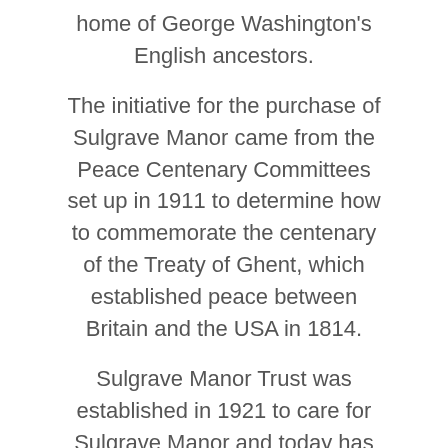home of George Washington's English ancestors.
The initiative for the purchase of Sulgrave Manor came from the Peace Centenary Committees set up in 1911 to determine how to commemorate the centenary of the Treaty of Ghent, which established peace between Britain and the USA in 1814.
Sulgrave Manor Trust was established in 1921 to care for Sulgrave Manor and today has specific responsibilities:
Alongside these aims it exists to promote Friendship and goodwill